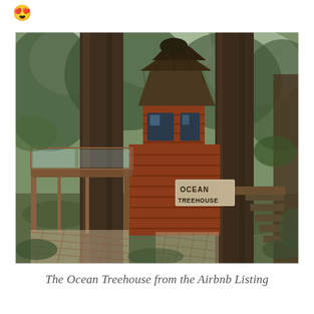[Figure (photo): Emoji: face with heart-eyes (😍)]
[Figure (photo): Photograph of the Ocean Treehouse surrounded by tall trees in a forest. The treehouse has red/brown wooden siding, a hexagonal tower room with a dark roof on top, windows, and a small deck/platform with a glass or wooden railing on the left side. A sign reading 'OCEAN TREEHOUSE' is visible on the front. Wooden stairs are visible on the right side. Lattice work is visible under the structure. The forest is lit with dappled sunlight.]
The Ocean Treehouse from the Airbnb Listing